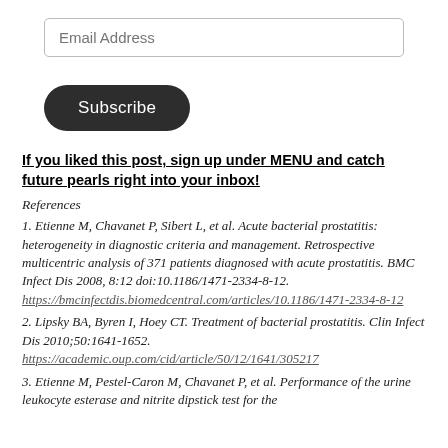Email Address
Subscribe
If you liked this post, sign up under MENU and catch future pearls right into your inbox!
References
1. Etienne M, Chavanet P, Sibert L, et al. Acute bacterial prostatitis: heterogeneity in diagnostic criteria and management. Retrospective multicentric analysis of 371 patients diagnosed with acute prostatitis. BMC Infect Dis 2008, 8:12 doi:10.1186/1471-2334-8-12. https://bmcinfectdis.biomedcentral.com/articles/10.1186/1471-2334-8-12
2. Lipsky BA, Byren I, Hoey CT. Treatment of bacterial prostatitis. Clin Infect Dis 2010;50:1641-1652. https://academic.oup.com/cid/article/50/12/1641/305217
3. Etienne M, Pestel-Caron M, Chavanet P, et al. Performance of the urine leukocyte esterase and nitrite dipstick test for the